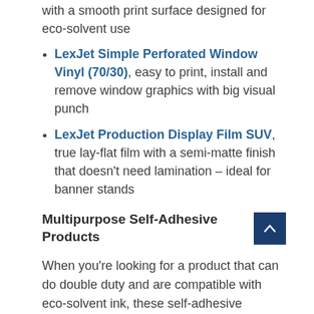with a smooth print surface designed for eco-solvent use
LexJet Simple Perforated Window Vinyl (70/30), easy to print, install and remove window graphics with big visual punch
LexJet Production Display Film SUV, true lay-flat film with a semi-matte finish that doesn't need lamination – ideal for banner stands
Multipurpose Self-Adhesive Products
When you're looking for a product that can do double duty and are compatible with eco-solvent ink, these self-adhesive options really go the distance on just about any surface.